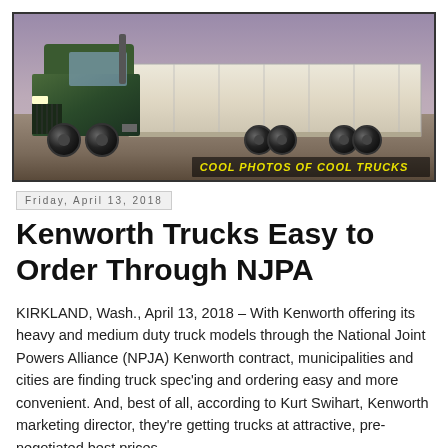[Figure (photo): A large semi-truck with a green cab and long white/tan trailer photographed from the side on a flat road, with a purple-grey sky background. Text at bottom right reads 'COOL PHOTOS OF COOL TRUCKS' in yellow italic bold letters.]
Friday, April 13, 2018
Kenworth Trucks Easy to Order Through NJPA
KIRKLAND, Wash., April 13, 2018 – With Kenworth offering its heavy and medium duty truck models through the National Joint Powers Alliance (NPJA) Kenworth contract, municipalities and cities are finding truck spec'ing and ordering easy and more convenient. And, best of all, according to Kurt Swihart, Kenworth marketing director, they're getting trucks at attractive, pre-negotiated best prices.
“It’s a win-win,” said Swihart. “The cooperative contract is a